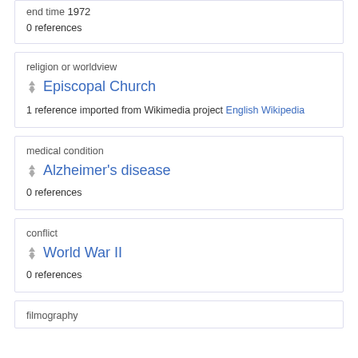end time 1972
0 references
religion or worldview
Episcopal Church
1 reference
imported from Wikimedia project English Wikipedia
medical condition
Alzheimer's disease
0 references
conflict
World War II
0 references
filmography